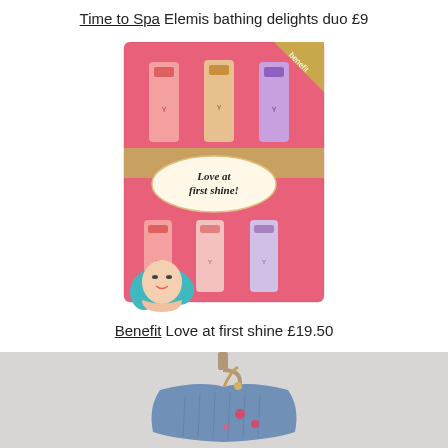Time to Spa Elemis bathing delights duo £9
[Figure (photo): Benefit 'Love at first shine' lip gloss gift set in a pink decorative box with illustrated female face and teal hair, containing multiple lip gloss tubes]
Benefit Love at first shine £19.50
[Figure (photo): A denim jacket or bag hanging on a hook against a light grey background, with floral embellishment details]